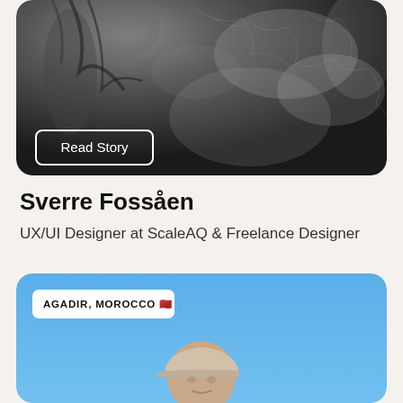[Figure (photo): Dark black and white photo card with textured background showing tree branches and ice/frost patterns. A 'Read Story' button with white border is overlaid at the bottom left.]
Read Story
Sverre Fossåen
UX/UI Designer at ScaleAQ & Freelance Designer
[Figure (photo): Blue sky background card showing a person wearing a beige cap, with a location tag reading 'AGADIR, MOROCCO' with flag emoji at the top left.]